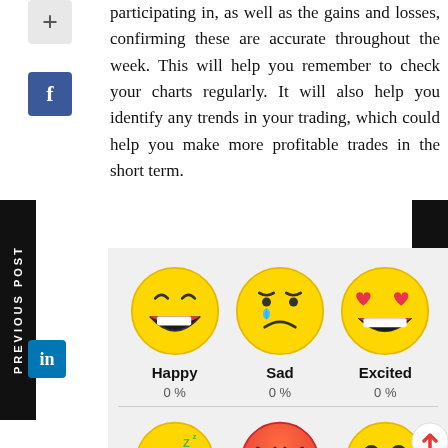participating in, as well as the gains and losses, confirming these are accurate throughout the week. This will help you remember to check your charts regularly. It will also help you identify any trends in your trading, which could help you make more profitable trades in the short term.
[Figure (infographic): Emoji mood poll with 6 emoji faces: Happy (0%), Sad (0%), Excited (0%), Sleepy, Angry, Surprise. Each emoji displayed with label and percentage. Shown in a gray background grid layout.]